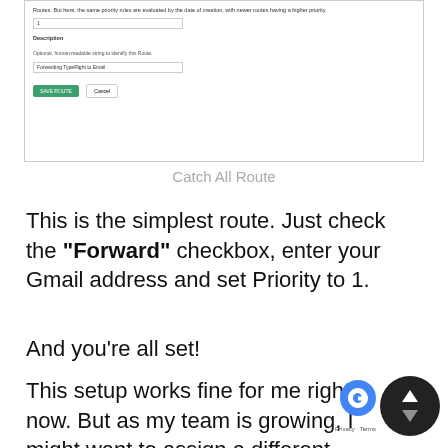[Figure (screenshot): A screenshot of a web form showing route settings with a Priority field (value 1), a Description field labeled 'Optional, human-readable string to identify this Route' with placeholder text 'Forwarding TypeRight to Email', and Save Route / Cancel buttons.]
Catch All Route
This is the simplest route. Just check the "Forward" checkbox, enter your Gmail address and set Priority to 1.
And you're all set!
This setup works fine for me right now. But as my team is growing, I might want to assign a different team member to handle different email address or I might set up another email address from another team member.